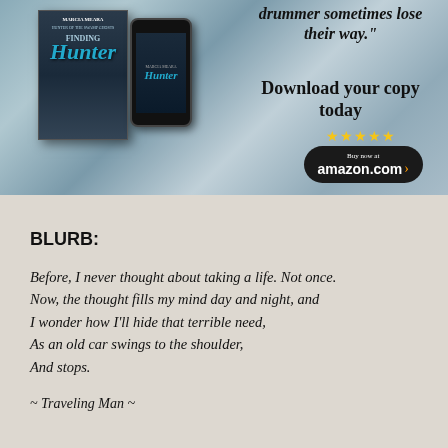[Figure (illustration): Book advertisement for 'Finding Hunter' by Marcia Meara showing book cover and phone mockup with quote 'drummer sometimes lose their way.' and Download your copy today with Amazon buy button and 5 stars]
BLURB:
Before, I never thought about taking a life. Not once. Now, the thought fills my mind day and night, and I wonder how I'll hide that terrible need, As an old car swings to the shoulder, And stops.
~ Traveling Man ~